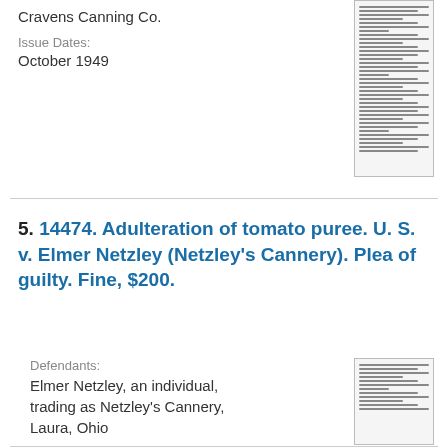Cravens Canning Co.
Issue Dates:
October 1949
[Figure (other): Thumbnail image of a legal document page]
5. 14474. Adulteration of tomato puree. U. S. v. Elmer Netzley (Netzley's Cannery). Plea of guilty. Fine, $200.
Defendants:
Elmer Netzley, an individual, trading as Netzley's Cannery, Laura, Ohio
Issue Dates:
October 1949
[Figure (other): Thumbnail image of a legal document page]